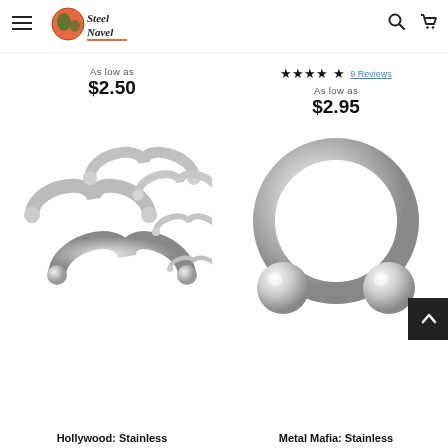Steel Navel navigation header with logo, hamburger menu, search and cart icons
As low as $2.50
★★★★½  9 Reviews
As low as $2.95
[Figure (photo): Multiple stainless steel horseshoe/circular barbells of various sizes arranged together]
[Figure (photo): Large stainless steel circular barbell with two large balls, Metal Mafia product]
Hollywood: Stainless
Metal Mafia: Stainless